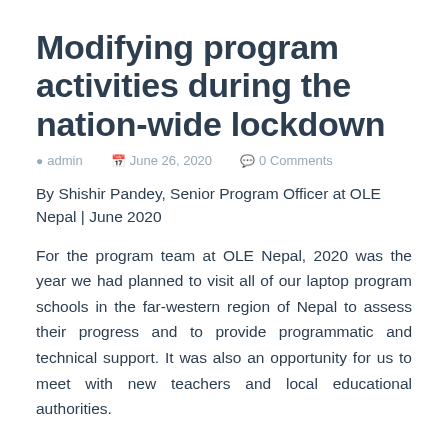Modifying program activities during the nation-wide lockdown
admin   June 26, 2020   0 Comments
By Shishir Pandey, Senior Program Officer at OLE Nepal | June 2020
For the program team at OLE Nepal, 2020 was the year we had planned to visit all of our laptop program schools in the far-western region of Nepal to assess their progress and to provide programmatic and technical support. It was also an opportunity for us to meet with new teachers and local educational authorities.